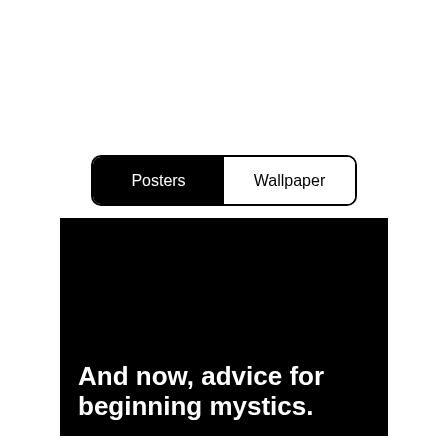[Figure (screenshot): UI tab bar with two tabs: 'Posters' (active, black background, white text) and 'Wallpaper' (inactive, white background, black text), with rounded border.]
[Figure (illustration): Black poster preview image with bold white text reading 'And now, advice for beginning mystics.']